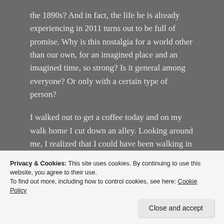the 1890s?  And in fact, the life he is already experiencing in 2011 turns out to be full of promise.  Why is this nostalgia for a world other than our own,  for an imagined place and an imagined time, so strong?  Is it general among everyone?  Or only with a certain type of person?
I walked out to get a coffee today and on my walk home I cut down an alley.  Looking around me, I realized that I could have been walking in any foreign city with any foreign adventure
[Figure (photo): Photograph of a building exterior with foliage and a door, partially visible]
short stroll from
Privacy & Cookies: This site uses cookies. By continuing to use this website, you agree to their use.
To find out more, including how to control cookies, see here: Cookie Policy